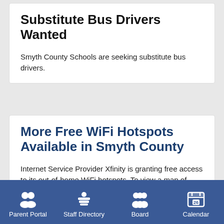Substitute Bus Drivers Wanted
Smyth County Schools are seeking substitute bus drivers.
More Free WiFi Hotspots Available in Smyth County
Internet Service Provider Xfinity is granting free access to its out-of-home WiFi hotspots. To view a map of available hotspots and learn how to connect, click the headline for this
Parent Portal | Staff Directory | Board | Calendar